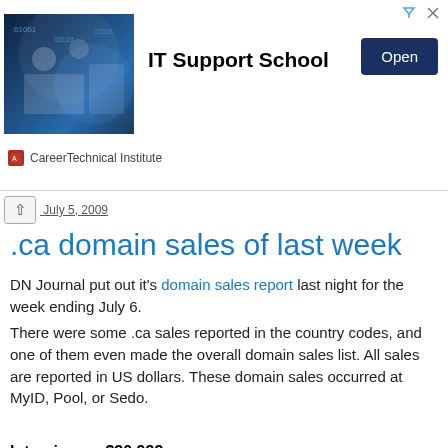[Figure (illustration): Advertisement banner for IT Support School by CareerTechnical Institute with an image of people working with computers, bold title 'IT Support School', and an 'Open' button]
.ca domain sales of last week
DN Journal put out it's domain sales report last night for the week ending July 6.
There were some .ca sales reported in the country codes, and one of them even made the overall domain sales list. All sales are reported in US dollars. These domain sales occurred at MyID, Pool, or Sedo.
Interview.ca $30,933
Vert.ca $7,595
Diplomas.ca $5,360
Betting.ca $5,310